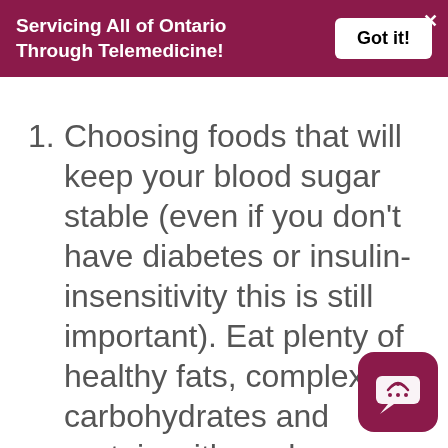Servicing All of Ontario Through Telemedicine!
Choosing foods that will keep your blood sugar stable (even if you don't have diabetes or insulin-insensitivity this is still important). Eat plenty of healthy fats, complex carbohydrates and protein with each